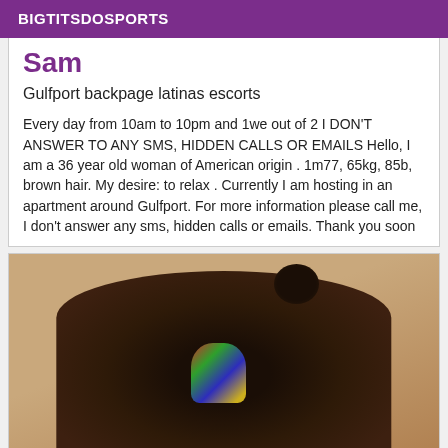BIGTITSDOSPORTS
Sam
Gulfport backpage latinas escorts
Every day from 10am to 10pm and 1we out of 2 I DON'T ANSWER TO ANY SMS, HIDDEN CALLS OR EMAILS Hello, I am a 36 year old woman of American origin . 1m77, 65kg, 85b, brown hair. My desire: to relax . Currently I am hosting in an apartment around Gulfport. For more information please call me, I don't answer any sms, hidden calls or emails. Thank you soon
[Figure (photo): Photo of a dark-skinned woman in a colorful polka-dot bikini sitting in a room with beige walls]